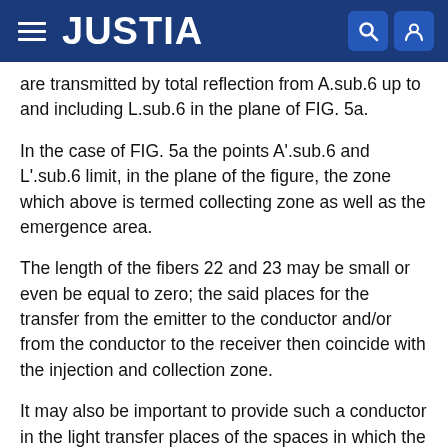JUSTIA
are transmitted by total reflection from A.sub.6 up to and including L.sub.6 in the plane of FIG. 5a.
In the case of FIG. 5a the points A'.sub.6 and L'.sub.6 limit, in the plane of the figure, the zone which above is termed collecting zone as well as the emergence area.
The length of the fibers 22 and 23 may be small or even be equal to zero; the said places for the transfer from the emitter to the conductor and/or from the conductor to the receiver then coincide with the injection and collection zone.
It may also be important to provide such a conductor in the light transfer places of the spaces in which the emitter and the receiver are accommodated, dipped, adhered or encapsulated. If the optical fiber have a length zero the injection and collection zones may be